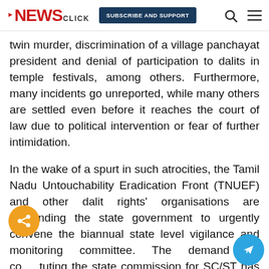NEWS CLICK | SUBSCRIBE AND SUPPORT
twin murder, discrimination of a village panchayat president and denial of participation to dalits in temple festivals, among others. Furthermore, many incidents go unreported, while many others are settled even before it reaches the court of law due to political intervention or fear of further intimidation.
In the wake of a spurt in such atrocities, the Tamil Nadu Untouchability Eradication Front (TNUEF) and other dalit rights' organisations are demanding the state government to urgently convene the biannual state level vigilance and monitoring committee. The demand for constituting the state commission for SC/ST has also been raised again.